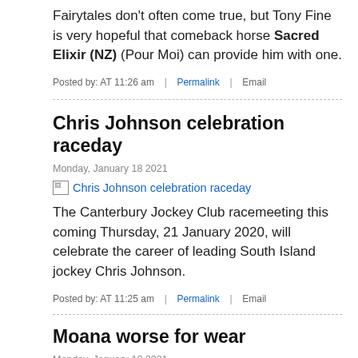Fairytales don't often come true, but Tony Fine is very hopeful that comeback horse Sacred Elixir (NZ) (Pour Moi) can provide him with one.
Posted by: AT 11:26 am  |  Permalink  |  Email
Chris Johnson celebration raceday
Monday, January 18 2021
[Figure (photo): Broken image placeholder for Chris Johnson celebration raceday]
The Canterbury Jockey Club racemeeting this coming Thursday, 21 January 2020, will celebrate the career of leading South Island jockey Chris Johnson.
Posted by: AT 11:25 am  |  Permalink  |  Email
Moana worse for wear
Monday, January 18 2021
[Figure (photo): Partial image at bottom showing High Hill, Rush Mill, Power logos/sponsors]